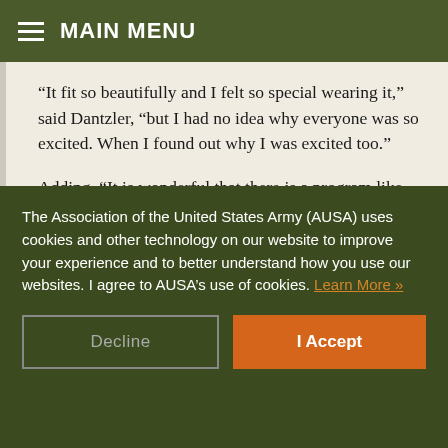MAIN MENU
“It fit so beautifully and I felt so special wearing it,” said Dantzler, “but I had no idea why everyone was so excited. When I found out why I was excited too.”
Adding, “It is wonderful that there is a program like Operation Deploy Your Dress that supports soldiers and their families in such a way. It can be very stressful to go out
The Association of the United States Army (AUSA) uses cookies and other technology on our website to improve your experience and to better understand how you use our websites. I agree to AUSA’s use of cookies. Learn More »
Decline
I Accept